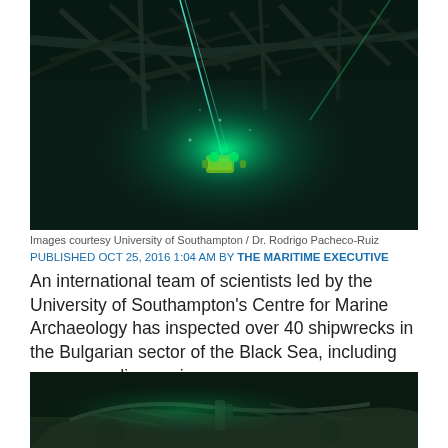[Figure (photo): Underwater photograph showing an ROV (remotely operated vehicle) with green lights exploring a shipwreck in dark water. Structural beams and debris of the wreck are visible above and around the ROV.]
Images courtesy University of Southampton / Dr. Rodrigo Pacheco-Ruiz
PUBLISHED OCT 25, 2016 1:04 AM BY THE MARITIME EXECUTIVE
An international team of scientists led by the University of Southampton's Centre for Marine Archaeology has inspected over 40 shipwrecks in the Bulgarian sector of the Black Sea, including many new discoveries.
[Figure (photo): Underwater photograph of a shipwreck on the sea floor. The wooden hull or structure is partially visible in murky green-tinted water with sediment on the bottom.]